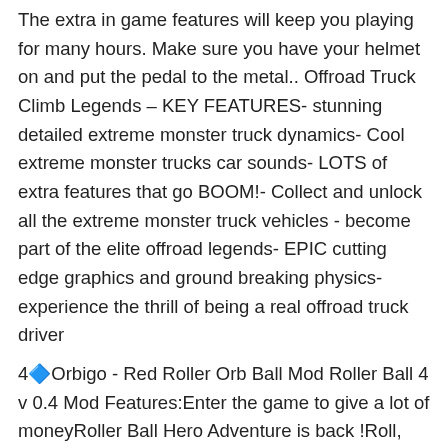The extra in game features will keep you playing for many hours. Make sure you have your helmet on and put the pedal to the metal.. Offroad Truck Climb Legends – KEY FEATURES- stunning detailed extreme monster truck dynamics- Cool extreme monster trucks car sounds- LOTS of extra features that go BOOM!- Collect and unlock all the extreme monster truck vehicles - become part of the elite offroad legends- EPIC cutting edge graphics and ground breaking physics- experience the thrill of being a real offroad truck driver
4🔷Orbigo - Red Roller Orb Ball Mod Roller Ball 4 v 0.4 Mod Features:Enter the game to give a lot of moneyRoller Ball Hero Adventure is back !Roll, jump, and bounce to get through this exciting level in this adventure.How to play Roller Ball Hero Adventure:- Use right and left arrow keys to roll the ball- Use up arrow key to jump ball- Collect stars and coins- Guide the ball to reach finishing line to get the next level- Challenge yourself to more and more difficult but interesting levels Features:- All New